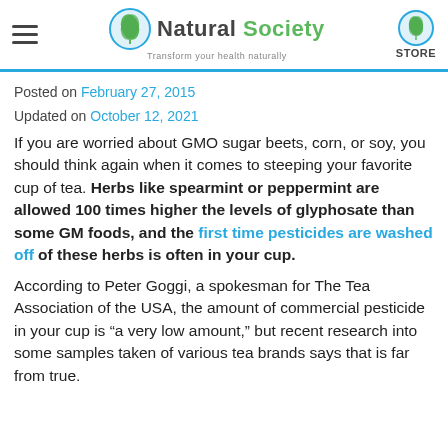Natural Society — Transform your health naturally | STORE
Posted on February 27, 2015
Updated on October 12, 2021
If you are worried about GMO sugar beets, corn, or soy, you should think again when it comes to steeping your favorite cup of tea. Herbs like spearmint or peppermint are allowed 100 times higher the levels of glyphosate than some GM foods, and the first time pesticides are washed off of these herbs is often in your cup.
According to Peter Goggi, a spokesman for The Tea Association of the USA, the amount of commercial pesticide in your cup is “a very low amount,” but recent research into some samples taken of various tea brands says that is far from true.